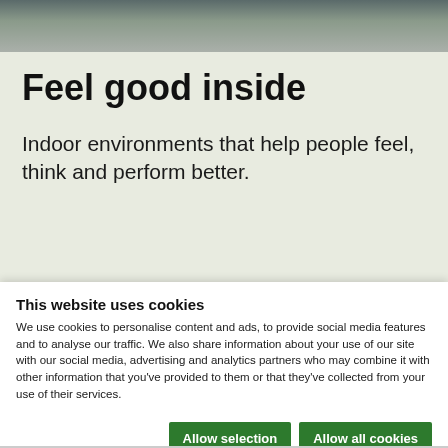[Figure (photo): Partial photo strip at top of page showing a person in an indoor environment]
Feel good inside
Indoor environments that help people feel, think and perform better.
This website uses cookies
We use cookies to personalise content and ads, to provide social media features and to analyse our traffic. We also share information about your use of our site with our social media, advertising and analytics partners who may combine it with other information that you've provided to them or that they've collected from your use of their services.